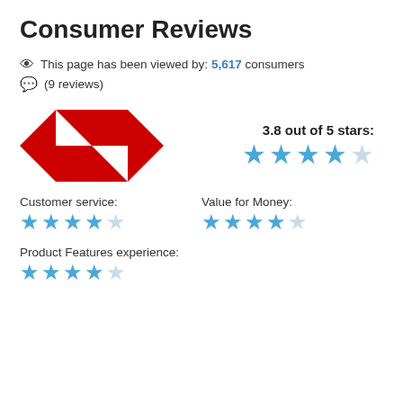Consumer Reviews
This page has been viewed by: 5,617 consumers
(9 reviews)
[Figure (logo): HSBC logo — red diamond shapes forming the HSBC hexagonal mark]
3.8 out of 5 stars: ★★★★☆
Customer service: ★★★★☆
Value for Money: ★★★★☆
Product Features experience: ★★★★☆